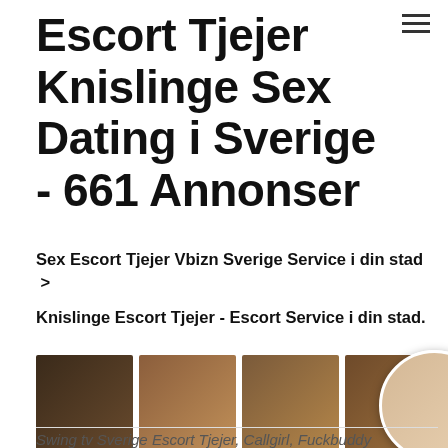Escort Tjejer Knislinge Sex Dating i Sverige - 661 Annonser
Sex Escort Tjejer Vbizn Sverige Service i din stad >
Knislinge Escort Tjejer - Escort Service i din stad.
[Figure (photo): Row of four photos of women, with a circular cropped photo overlapping on the right side]
Swing tv Sverige Escort Tjejer, Callgirl, Fuckbuddy